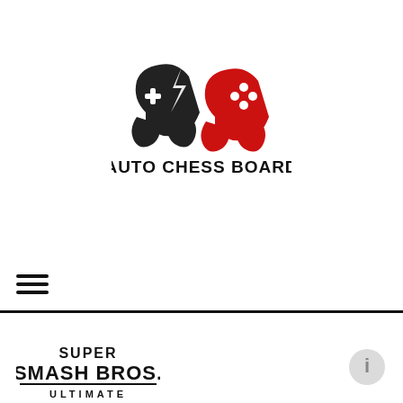[Figure (logo): Auto Chess Board logo: two game controllers (one black, one red) overlapping with a lightning bolt shape, above bold text reading AUTO CHESS BOARD]
[Figure (other): Hamburger menu icon: three horizontal black lines]
[Figure (other): Super Smash Bros. Ultimate logo in black and white]
[Figure (other): Small circular info button icon in light gray, bottom right corner]